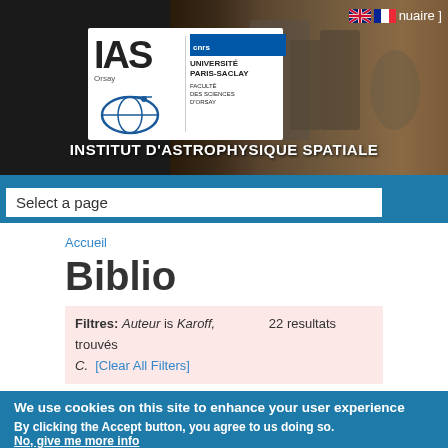[Figure (photo): IAS Institut d'Astrophysique Spatiale header banner with logo and laboratory photo background]
INSTITUT D'ASTROPHYSIQUE SPATIALE
Select a page
Accueil
Biblio
Filtres: Auteur is Karoff, C.  22 resultats trouvés  [Clear All Filters]
We use cookies on this site to enhance your user experience
By clicking the Accept button, you agree to us doing so.
No, give me more info